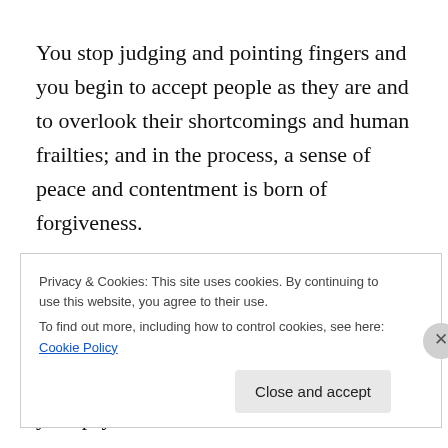You stop judging and pointing fingers and you begin to accept people as they are and to overlook their shortcomings and human frailties; and in the process, a sense of peace and contentment is born of forgiveness.
You realize that much of the way you view yourself and the world around you is as a result of all the messages and opinions that have been ingrained into your psyche.
You begin to sift through all that you've been fed about how you should behave, how you should look, and how
Privacy & Cookies: This site uses cookies. By continuing to use this website, you agree to their use.
To find out more, including how to control cookies, see here: Cookie Policy